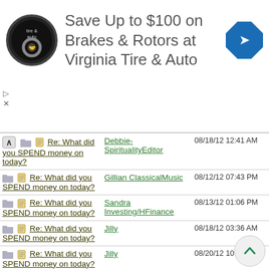[Figure (other): Advertisement banner: Virginia Tire & Auto logo (circular black badge), text 'Save Up to $100 on Brakes & Rotors at Virginia Tire & Auto', blue diamond navigation icon on right. Ad controls (triangle play and X) on left side.]
| Thread | Author | Date |
| --- | --- | --- |
| Re: What did you SPEND money on today? | Debbie-SpiritualityEditor | 08/18/12 12:41 AM |
| Re: What did you SPEND money on today? | Gillian ClassicalMusic | 08/12/12 07:43 PM |
| Re: What did you SPEND money on today? | Sandra Investing/HFinance | 08/13/12 01:06 PM |
| Re: What did you SPEND money on today? | Jilly | 08/18/12 03:36 AM |
| Re: What did you SPEND money on today? | Jilly | 08/20/12 10:09 PM |
| Re: What did you SPEND money on today? | Debbie-SpiritualityEditor | 09/03/12 01:35 AM |